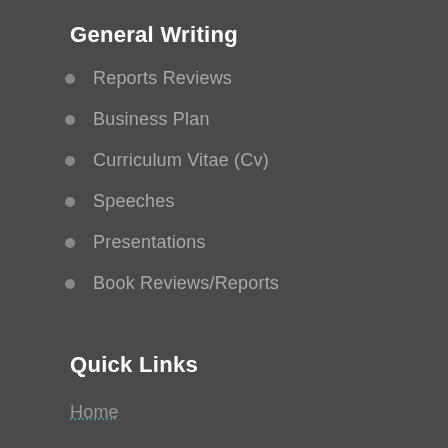General Writing
Reports Reviews
Business Plan
Curriculum Vitae (Cv)
Speeches
Presentations
Book Reviews/Reports
Quick Links
Home
How it works
Our Services
Order Now